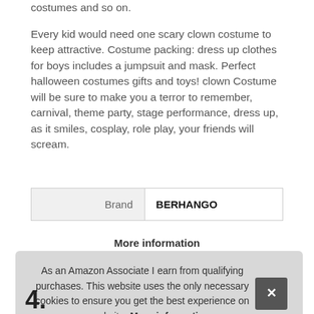costumes and so on.
Every kid would need one scary clown costume to keep attractive. Costume packing: dress up clothes for boys includes a jumpsuit and mask. Perfect halloween costumes gifts and toys! clown Costume will be sure to make you a terror to remember, carnival, theme party, stage performance, dress up, as it smiles, cosplay, role play, your friends will scream.
| Brand | Value |
| --- | --- |
| Brand | BERHANGO |
More information
As an Amazon Associate I earn from qualifying purchases. This website uses the only necessary cookies to ensure you get the best experience on our website. More information
4.